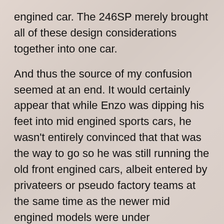engined car. The 246SP merely brought all of these design considerations together into one car.
And thus the source of my confusion seemed at an end. It would certainly appear that while Enzo was dipping his feet into mid engined sports cars, he wasn't entirely convinced that that was the way to go so he was still running the old front engined cars, albeit entered by privateers or pseudo factory teams at the same time as the newer mid engined models were under development.
Given the similarity of shapes of the cars, the